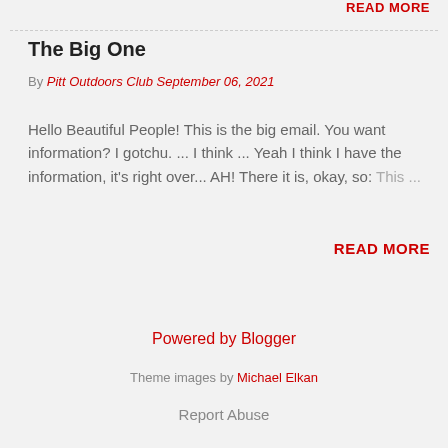READ MORE
The Big One
By Pitt Outdoors Club September 06, 2021
Hello Beautiful People! This is the big email. You want information? I gotchu. ... I think ... Yeah I think I have the information, it's right over... AH! There it is, okay, so: This ...
READ MORE
Powered by Blogger
Theme images by Michael Elkan
Report Abuse